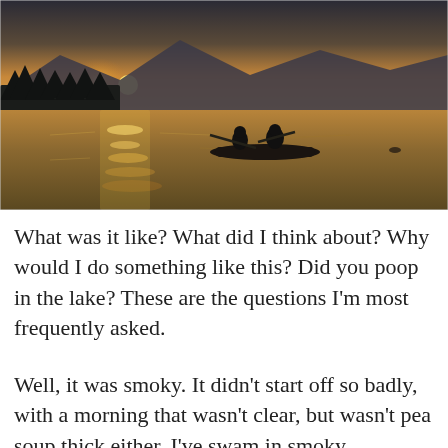[Figure (photo): Sunset or sunrise over a lake with two people in a kayak silhouetted against golden light reflecting on the water, with mountains and trees in the background.]
What was it like? What did I think about? Why would I do something like this? Did you poop in the lake? These are the questions I'm most frequently asked.
Well, it was smoky. It didn't start off so badly, with a morning that wasn't clear, but wasn't pea soup thick either. I've swam in smoky